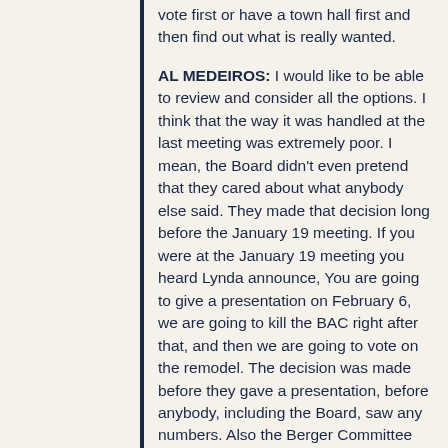vote first or have a town hall first and then find out what is really wanted.
AL MEDEIROS:  I would like to be able to review and consider all the options.  I think that the way it was handled at the last meeting was extremely poor.  I mean, the Board didn't even pretend that they cared about what anybody else said.  They made that decision long before the January 19 meeting.  If you were at the January 19 meeting you heard Lynda announce, You are going to give a presentation on February 6, we are going to kill the BAC right after that, and then we are going to vote on the remodel.  The decision was made before they gave a presentation, before anybody, including the Board, saw any numbers.  Also the Berger Committee was hamstrung for at